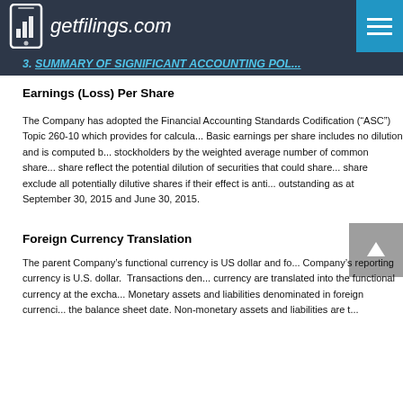getfilings.com
3. SUMMARY OF SIGNIFICANT ACCOUNTING POL...
Earnings (Loss) Per Share
The Company has adopted the Financial Accounting Standards Codification (“ASC”) Topic 260-10 which provides for calcula... Basic earnings per share includes no dilution and is computed b... stockholders by the weighted average number of common share... share reflect the potential dilution of securities that could share... share exclude all potentially dilutive shares if their effect is anti... outstanding as at September 30, 2015 and June 30, 2015.
Foreign Currency Translation
The parent Company’s functional currency is US dollar and fo... Company’s reporting currency is U.S. dollar. Transactions den... currency are translated into the functional currency at the excha... Monetary assets and liabilities denominated in foreign currenci... the balance sheet date. Non-monetary assets and liabilities are t...